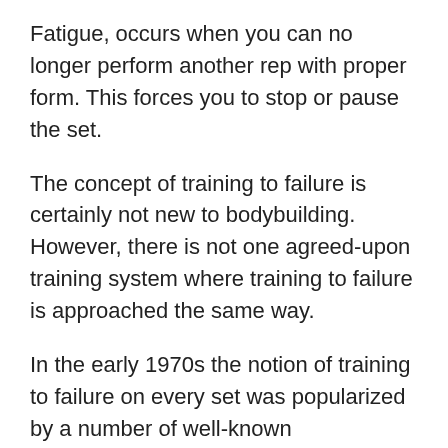Fatigue, occurs when you can no longer perform another rep with proper form. This forces you to stop or pause the set.
The concept of training to failure is certainly not new to bodybuilding. However, there is not one agreed-upon training system where training to failure is approached the same way.
In the early 1970s the notion of training to failure on every set was popularized by a number of well-known bodybuilders with the belief that training to the point of muscular failure was the necessary stimulus for maximum muscular growth. If you were performing an exercise with a weight that you could lift a maximum of 10 times, they believed that you would have to lift that weight for all 10 repetitions in order to